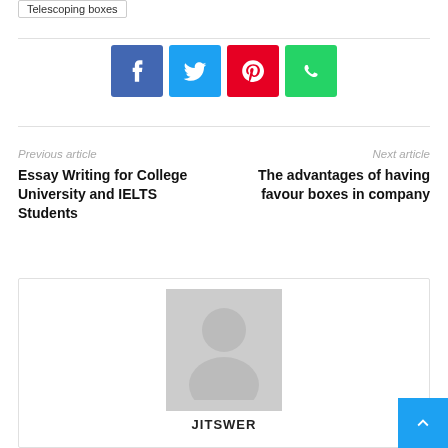Telescoping boxes
[Figure (infographic): Social media share buttons: Facebook (blue), Twitter (light blue), Pinterest (red), WhatsApp (green)]
Previous article
Essay Writing for College University and IELTS Students
Next article
The advantages of having favour boxes in company
[Figure (photo): Generic user avatar placeholder image - grey silhouette of a person on grey background]
JITSWER